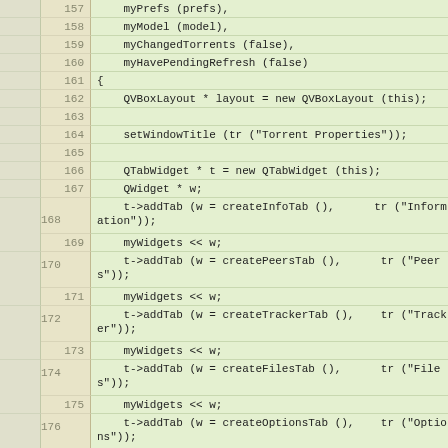Code listing lines 157-182: C++ source code for torrent properties dialog constructor